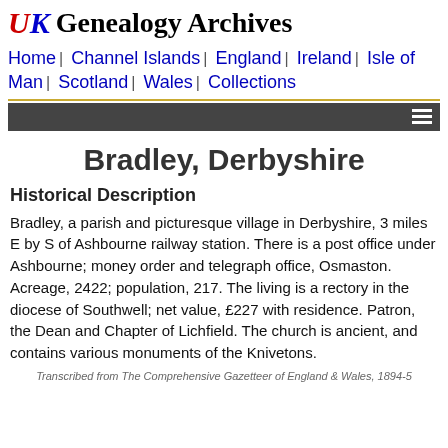UK Genealogy Archives
Home | Channel Islands | England | Ireland | Isle of Man | Scotland | Wales | Collections
Bradley, Derbyshire
Historical Description
Bradley, a parish and picturesque village in Derbyshire, 3 miles E by S of Ashbourne railway station. There is a post office under Ashbourne; money order and telegraph office, Osmaston. Acreage, 2422; population, 217. The living is a rectory in the diocese of Southwell; net value, £227 with residence. Patron, the Dean and Chapter of Lichfield. The church is ancient, and contains various monuments of the Knivetons.
Transcribed from The Comprehensive Gazetteer of England & Wales, 1894-5